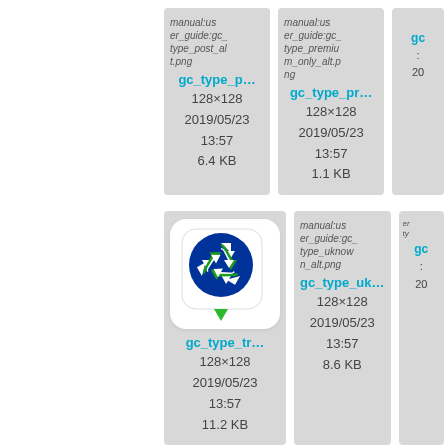[Figure (screenshot): File manager thumbnail grid showing image files. Top row (partial): two file cards and a partial third. Bottom row (partial): one file card with recycle icon image, one with broken image placeholder, and a partial third.]
manual:user_guide:gc_type_post_alt.png
gc_type_p...
128×128
2019/05/23
13:57
6.4 KB
manual:user_guide:gc_type_premium_only_alt.png
gc_type_pr...
128×128
2019/05/23
13:57
1.1 KB
gc_type_tr...
128×128
2019/05/23
13:57
11.2 KB
manual:user_guide:gc_type_uknown_alt.png
gc_type_uk...
128×128
2019/05/23
13:57
8.6 KB